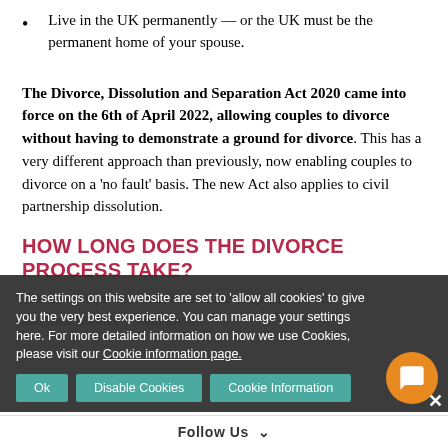Live in the UK permanently — or the UK must be the permanent home of your spouse.
The Divorce, Dissolution and Separation Act 2020 came into force on the 6th of April 2022, allowing couples to divorce without having to demonstrate a ground for divorce. This has a very different approach than previously, now enabling couples to divorce on a 'no fault' basis.  The new Act also applies to civil partnership dissolution.
HOW LONG DOES THE DIVORCE PROCESS TAKE?
The divorce process is unique to the couple involved, and their divorce...stem invol...
The settings on this website are set to 'allow all cookies' to give you the very best experience. You can manage your settings here. For more detailed information on how we use Cookies, please visit our Cookie information page.
Follow Us